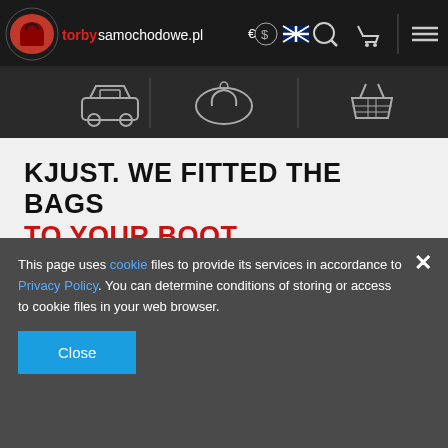[Figure (screenshot): Website header with logo 'torbysamochodowe.pl' (red and white text on dark background), currency/language/search/cart/menu icons]
[Figure (screenshot): Secondary navigation bar with three icons: car, bag, basket, separated by vertical dividers on dark background]
KJUST. WE FITTED THE BAGS TO YOUR BOOT.
Almost everyone is used to using bags that do not fit into the boots. We decided to change it. We want to make carrying our luggage simpler and more enjoyable. We want to make your trips easier, even with the whole family and even every weekend.
+48 570 400 855
This page uses cookie files to provide its services in accordance to Privacy Policy. You can determine conditions of storing or access to cookie files in your web browser.
Close